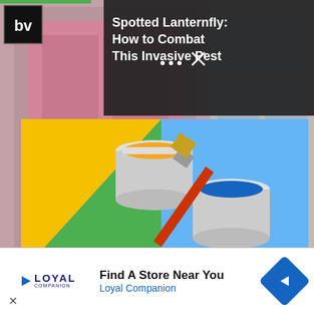[Figure (screenshot): Website screenshot showing a BV logo in top-left, a dark overlay on top-right with article title 'Spotted Lanternfly: How to Combat This Invasive Pest', a gallery navigation with two green arrow buttons, a background photo of a pink door, and a colorful paint brush image with yellow, green, and blue paint cans]
[Figure (photo): Advertisement banner: Loyal Companion pet store ad with 'Find A Store Near You' text and blue navigation arrow icon]